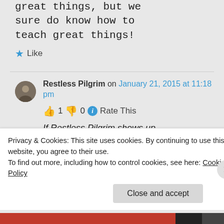great things, but we sure do know how to teach great things!
★ Like
Restless Pilgrim on January 21, 2015 at 11:18 pm
👍 1 👎 0 ℹ Rate This
If Restless Pilgrim shows up
Privacy & Cookies: This site uses cookies. By continuing to use this website, you agree to their use.
To find out more, including how to control cookies, see here: Cookie Policy
Close and accept